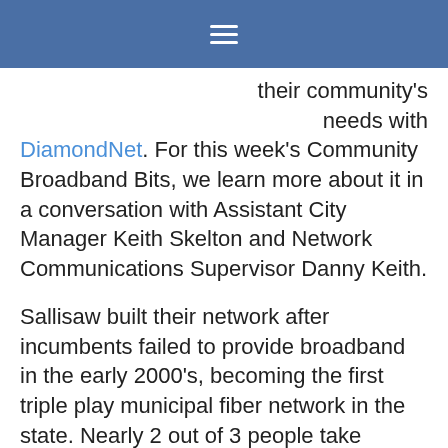☰
their community's needs with DiamondNet. For this week's Community Broadband Bits, we learn more about it in a conversation with Assistant City Manager Keith Skelton and Network Communications Supervisor Danny Keith.
Sallisaw built their network after incumbents failed to provide broadband in the early 2000's, becoming the first triple play municipal fiber network in the state. Nearly 2 out of 3 people take service from DiamondNet, which is operated by municipal electric utility.
They pride themselves on doing much more for the community than the incumbent providers do - particularly responsive customer service and creating lots of local content. They are also building